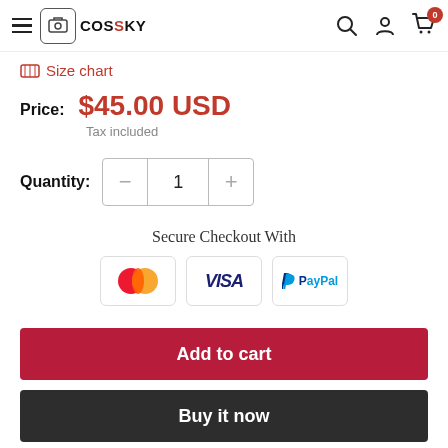CosSky navigation header with hamburger menu, logo, search, account, and cart icons
Size chart
Price: $45.00 USD
Tax included
Quantity: 1
[Figure (infographic): Secure Checkout With Mastercard, VISA, and PayPal payment logos]
Add to cart
Buy it now